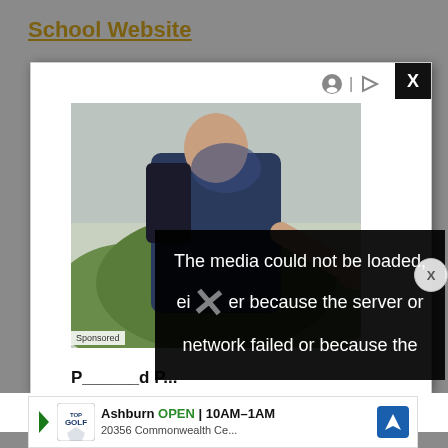School Website
[Figure (screenshot): An advertisement popup showing a hiker/backpacker reaching out a hand toward the viewer, with green hills in the background. The popup has a black X close button in the top-right corner, small icons (person and play button) near the top right, and a 'Sponsored' label at bottom left of the image. There is a black error overlay reading 'The media could not be loaded, either because the server or network failed or because the' with a large faded X. A small round X close button appears on the right edge.]
courses in patient care
secti... is
[Figure (screenshot): Bottom ad banner: Topgolf advertisement showing 'Ashburn OPEN 10AM-1AM' and '20356 Commonwealth Ce...' with Topgolf logo and navigation arrow icon.]